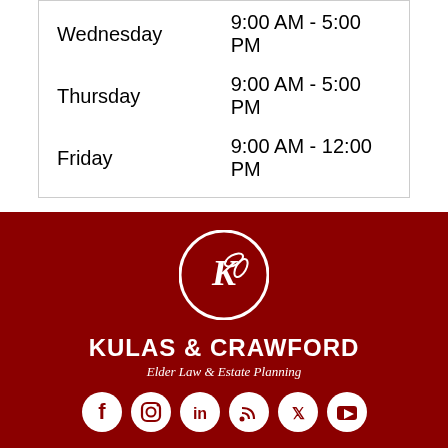| Day | Hours |
| --- | --- |
| Wednesday | 9:00 AM - 5:00 PM |
| Thursday | 9:00 AM - 5:00 PM |
| Friday | 9:00 AM - 12:00 PM |
[Figure (logo): Kulas & Crawford circular logo with leaf/K design in white on dark red background]
KULAS & CRAWFORD
Elder Law & Estate Planning
[Figure (infographic): Social media icons: Facebook, Instagram, LinkedIn, RSS, Twitter, YouTube]
The information on this Florida Attorneys & Lawyers / Law Firm website is for general information purposes only. Nothing on this or associated pages, documents, comments, answers, emails, or other communications should be taken as legal advice for any individual case or situation. The